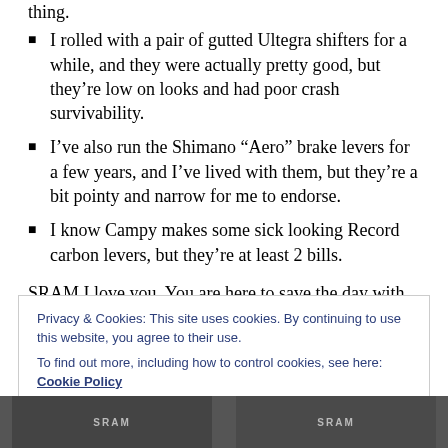thing.
I rolled with a pair of gutted Ultegra shifters for a while, and they were actually pretty good, but they’re low on looks and had poor crash survivability.
I’ve also run the Shimano “Aero” brake levers for a few years, and I’ve lived with them, but they’re a bit pointy and narrow for me to endorse.
I know Campy makes some sick looking Record carbon levers, but they’re at least 2 bills.
SRAM I love you. You are here to save the day with the introduction of your 900 and 500 Single Speed
Privacy & Cookies: This site uses cookies. By continuing to use this website, you agree to their use.
To find out more, including how to control cookies, see here: Cookie Policy
Close and accept
[Figure (photo): Bottom portion of two product photos showing SRAM components]